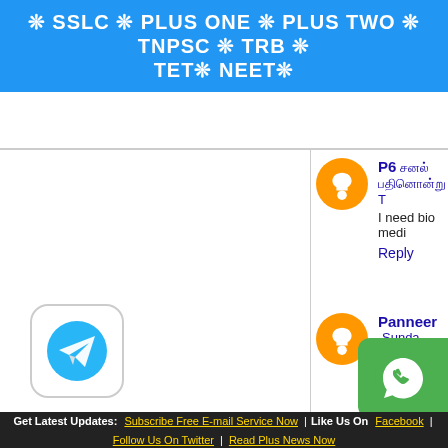❊ SSLC ❊ PLUS ONE ❊ PLUS TWO ❊ TNPSC ❊ TRB ❊ TET❊ NEET❊
P6 [Tamil script] I need bio medi...
Reply
Panneer Sunday... Structural engin...
Reply
Anonymous T... I need diploma ... number 979188...
Reply
Unknown [red x]
Get Latest Updates: Subscribe Free E-mail Service Now | Like Us On Facebook | Follow Us On Twitter | Read Plus News Now